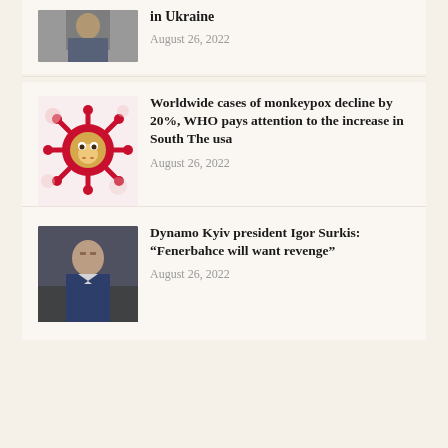[Figure (photo): Man in suit at event, partially cropped]
in Ukraine
August 26, 2022
[Figure (illustration): Red coronavirus/monkeypox virus illustration with monkey emoji inside]
Worldwide cases of monkeypox decline by 20%, WHO pays attention to the increase in South The usa
August 26, 2022
[Figure (photo): Man in blue suit jacket, Igor Surkis, Dynamo Kyiv president]
Dynamo Kyiv president Igor Surkis: “Fenerbahce will want revenge”
August 26, 2022